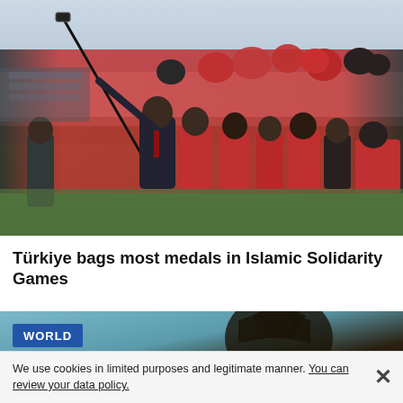[Figure (photo): A person in a suit taking a group selfie with a selfie stick. A large group of people in red athletic uniforms crowd behind for the photo, taken outdoors on a grassy field.]
Türkiye bags most medals in Islamic Solidarity Games
[Figure (photo): Second article thumbnail with a 'WORLD' category badge in blue, showing a dark creature or figure against a teal/blue background.]
We use cookies in limited purposes and legitimate manner. You can review your data policy.